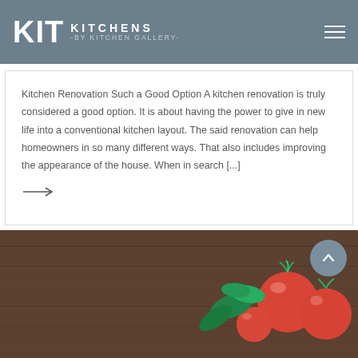[Figure (logo): KIT Kitchens by Kitchen Gallery logo — white text on grey-blue header bar]
Kitchen Renovation Such a Good Option A kitchen renovation is truly considered a good option. It is about having the power to give in new life into a conventional kitchen layout. The said renovation can help homeowners in so many different ways. That also includes improving the appearance of the house. When in search [...]
→
[Figure (photo): Bottom section showing wooden table surface with tomatoes and green vegetables/basil]